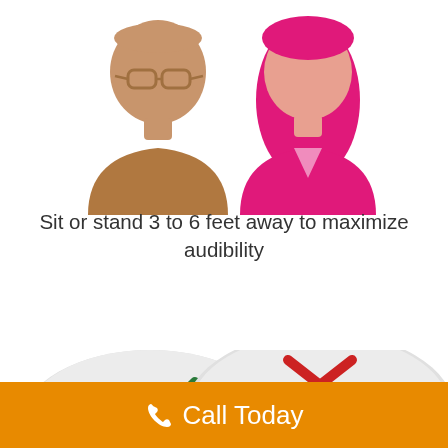[Figure (illustration): Two person icons side by side: a male figure with glasses and sandy/orange coloring on the left, a female figure with pink hair and pink/red coloring on the right, representing talking distance for hearing aid audibility.]
Sit or stand 3 to 6 feet away to maximize audibility
[Figure (illustration): Two speech bubbles partially visible. Left bubble (grey) has a green checkmark and text 'Where should we eat?'. Right bubble (grey) has a red X and text 'I don’t know what to eat, where do you think we should go for lunch?']
Call Today